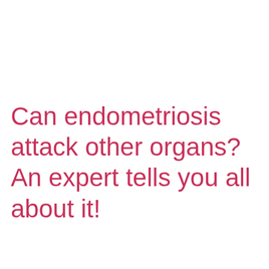Can endometriosis attack other organs? An expert tells you all about it!